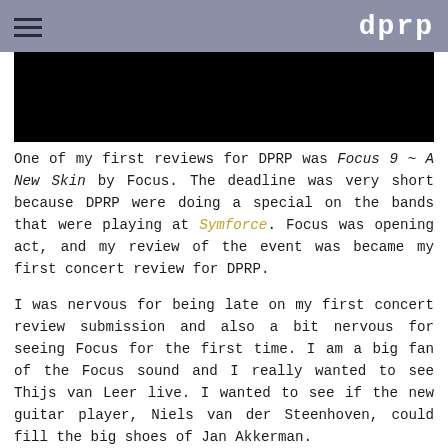dprp
[Figure (photo): Black rectangular image area at top of page]
One of my first reviews for DPRP was Focus 9 ~ A New Skin by Focus. The deadline was very short because DPRP were doing a special on the bands that were playing at Symforce. Focus was opening act, and my review of the event was became my first concert review for DPRP.
I was nervous for being late on my first concert review submission and also a bit nervous for seeing Focus for the first time. I am a big fan of the Focus sound and I really wanted to see Thijs van Leer live. I wanted to see if the new guitar player, Niels van der Steenhoven, could fill the big shoes of Jan Akkerman.
At that time just before the Symforce festival, I was the only DPRP-member who had the latest Focus CD